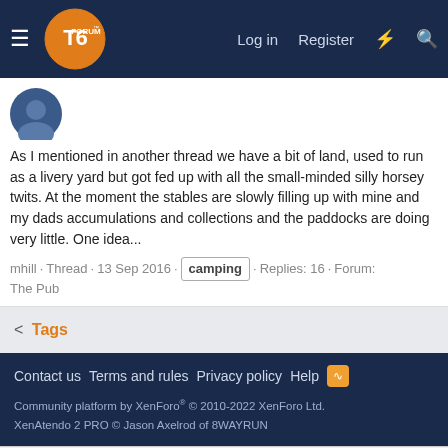T6FORUM · Log in · Register
As I mentioned in another thread we have a bit of land, used to run as a livery yard but got fed up with all the small-minded silly horsey twits. At the moment the stables are slowly filling up with mine and my dads accumulations and collections and the paddocks are doing very little. One idea...
mhill · Thread · 13 Sep 2016 · camping · Replies: 16 · Forum: The Pub
Tags
Contact us · Terms and rules · Privacy policy · Help
Community platform by XenForo® © 2010-2022 XenForo Ltd. XenAtendo 2 PRO © Jason Axelrod of 8WAYRUN
This site uses cookies to help personalise content, tailor your experience and to keep you logged in if you register. By continuing to use this site, you are consenting to our use of cookies.